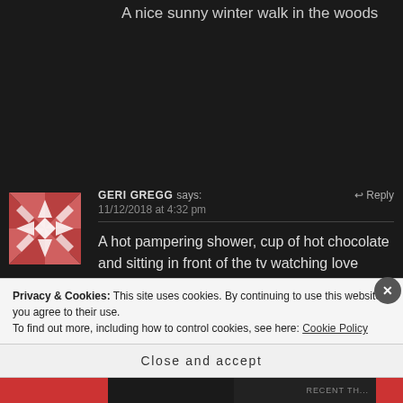A nice sunny winter walk in the woods
GERI GREGG says:
11/12/2018 at 4:32 pm
A hot pampering shower, cup of hot chocolate and sitting in front of the tv watching love actually
Privacy & Cookies: This site uses cookies. By continuing to use this website, you agree to their use.
To find out more, including how to control cookies, see here: Cookie Policy
Close and accept